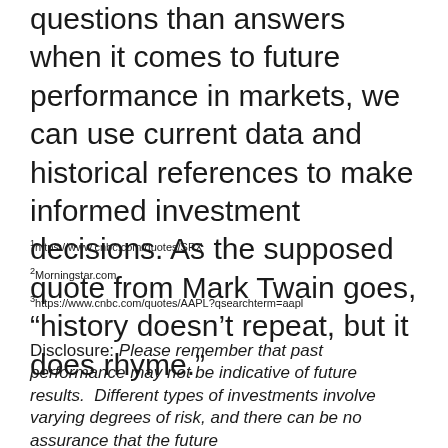questions than answers when it comes to future performance in markets, we can use current data and historical references to make informed investment decisions. As the supposed quote from Mark Twain goes, “history doesn’t repeat, but it does rhyme.”
¹https://www.cnbc.com/quotes/SPX
²Morningstar.com
³https://www.cnbc.com/quotes/AAPL?qsearchterm=aapl
Disclosure: Please remember that past performance may not be indicative of future results. Different types of investments involve varying degrees of risk, and there can be no assurance that the future